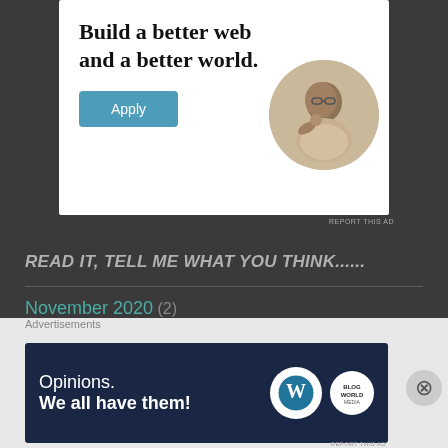[Figure (infographic): Advertisement banner with text 'Build a better web and a better world.' and an Apply button, plus a circular photo of a man thinking]
REPORT THIS AD
READ IT, TELL ME WHAT YOU THINK......
November 2020 (2)
October 2020 (5)
September 2020 (2)
Advertisements
[Figure (infographic): Bottom advertisement banner with dark blue background showing 'Opinions. We all have them!' with WordPress and brand logos]